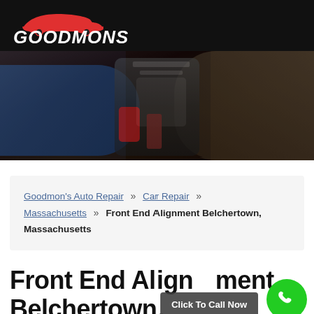[Figure (logo): Goodmons Auto Repair logo — white italic text 'GOODMONS' with a red car silhouette above, on black background]
[Figure (photo): Mechanic hands working on a car engine, dark tones with blue-sleeved arm on left and tan-sleeved arm on right, red component visible center]
Goodmon's Auto Repair » Car Repair » Massachusetts » Front End Alignment Belchertown, Massachusetts
Front End Alignment Belchertown,